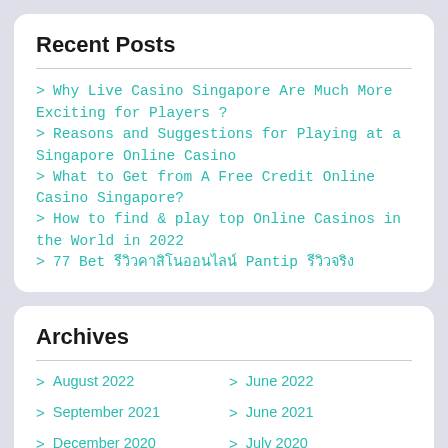Recent Posts
Why Live Casino Singapore Are Much More Exciting for Players ?
Reasons and Suggestions for Playing at a Singapore Online Casino
What to Get from A Free Credit Online Casino Singapore?
How to find & play top Online Casinos in the World in 2022
77 Bet รีวิวคาสิโนออนไลน์ Pantip รีวิวจริง
Archives
August 2022
June 2022
September 2021
June 2021
December 2020
July 2020